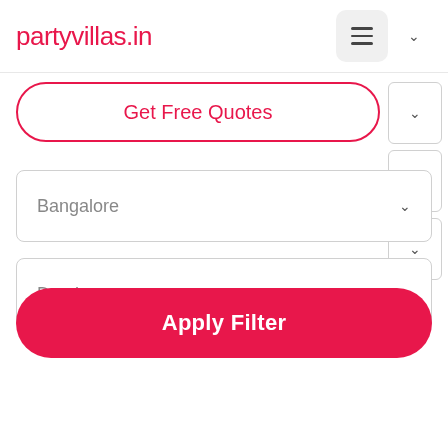partyvillas.in
Get Free Quotes
Bangalore
Domlur
Apply Filter